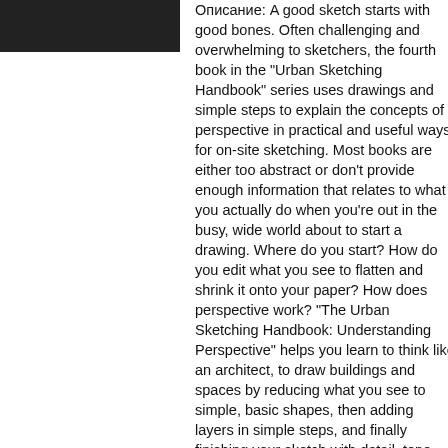[Figure (photo): Dark/black rectangular image block at top left]
Описание: A good sketch starts with good bones. Often challenging and overwhelming to sketchers, the fourth book in the "Urban Sketching Handbook" series uses drawings and simple steps to explain the concepts of perspective in practical and useful ways for on-site sketching. Most books are either too abstract or don't provide enough information that relates to what you actually do when you're out in the busy, wide world about to start a drawing. Where do you start? How do you edit what you see to flatten and shrink it onto your paper? How does perspective work? "The Urban Sketching Handbook: Understanding Perspective" helps you learn to think like an architect, to draw buildings and spaces by reducing what you see to simple, basic shapes, then adding layers in simple steps, and finally finishing your sketch with detail, tone, and color--in accurate perspective. Full of helpful tips, architect and illustrator, Stephanie Bower even de-constructs sketches to show you how to create them Once you understand perspective, it will change the way you see the world--you'll see perspective everywhere. Some of the key concepts explored in this volume are: